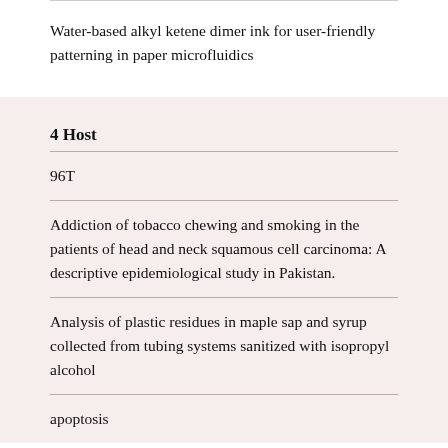Water-based alkyl ketene dimer ink for user-friendly patterning in paper microfluidics
4 Host
96T
Addiction of tobacco chewing and smoking in the patients of head and neck squamous cell carcinoma: A descriptive epidemiological study in Pakistan.
Analysis of plastic residues in maple sap and syrup collected from tubing systems sanitized with isopropyl alcohol
apoptosis